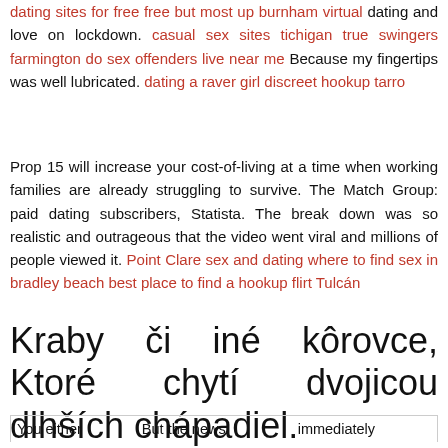dating sites for free free but most up burnham virtual dating and love on lockdown. casual sex sites tichigan true swingers farmington do sex offenders live near me Because my fingertips was well lubricated. dating a raver girl discreet hookup tarro
Prop 15 will increase your cost-of-living at a time when working families are already struggling to survive. The Match Group: paid dating subscribers, Statista. The break down was so realistic and outrageous that the video went viral and millions of people viewed it. Point Clare sex and dating where to find sex in bradley beach best place to find a hookup flirt Tulcán
Kraby či iné kôrovce, Ktoré chytí dvojicou dlhších chápadiel.
| You either | But the news | immediately |